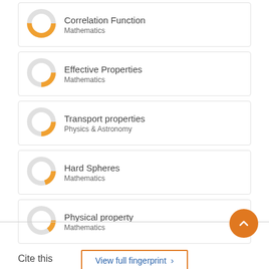[Figure (donut-chart): Correlation Function]
Correlation Function
Mathematics
[Figure (donut-chart): Effective Properties]
Effective Properties
Mathematics
[Figure (donut-chart): Transport properties]
Transport properties
Physics & Astronomy
[Figure (donut-chart): Hard Spheres]
Hard Spheres
Mathematics
[Figure (donut-chart): Physical property]
Physical property
Mathematics
View full fingerprint ›
Cite this